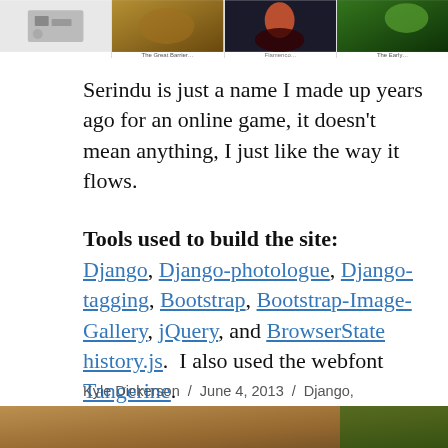[Figure (photo): Row of four thumbnail photos at the top of the page, showing various nature/outdoor subjects with small captions beneath each.]
Serindu is just a name I made up years ago for an online game, it doesn't mean anything, I just like the way it flows.
Tools used to build the site: Django, Django-photologue, Django-tagging, Bootstrap, Bootstrap-Image-Gallery, jQuery, and BrowserState history.js.  I also used the webfont Tangerine.
Kyle Dickerson / June 4, 2013 / Django, photography / 1 Comment
[Figure (photo): Partial photo visible at the very bottom of the page showing an outdoor/nature scene.]